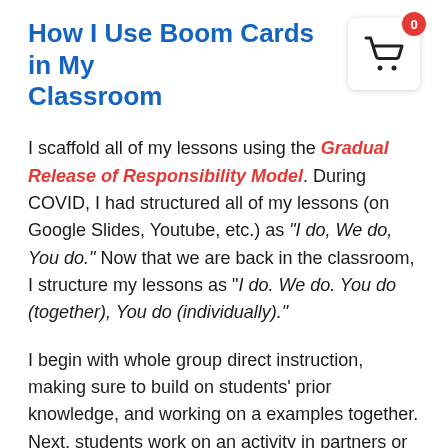How I Use Boom Cards in My Classroom
I scaffold all of my lessons using the Gradual Release of Responsibility Model. During COVID, I had structured all of my lessons (on Google Slides, Youtube, etc.) as “I do, We do, You do.” Now that we are back in the classroom, I structure my lessons as “I do. We do. You do (together), You do (individually).”
I begin with whole group direct instruction, making sure to build on students’ prior knowledge, and working on a examples together. Next, students work on an activity in partners or small groups. Then they complete